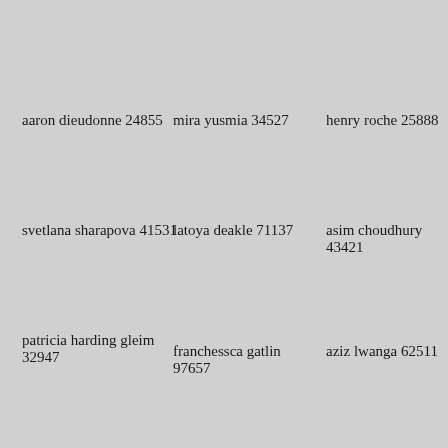aaron dieudonne 24855
mira yusmia 34527
henry roche 25888
svetlana sharapova 41531
latoya deakle 71137
asim choudhury 43421
patricia harding gleim 32947
franchessca gatlin 97657
aziz lwanga 62511